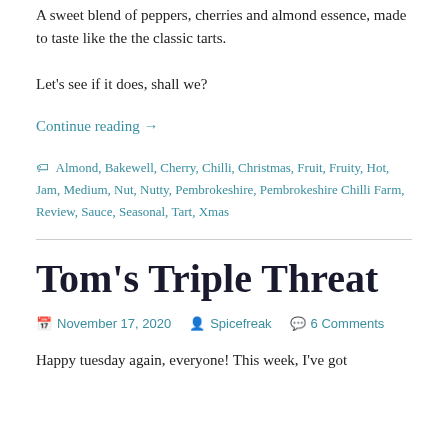A sweet blend of peppers, cherries and almond essence, made to taste like the the classic tarts.
Let's see if it does, shall we?
Continue reading →
🏷 Almond, Bakewell, Cherry, Chilli, Christmas, Fruit, Fruity, Hot, Jam, Medium, Nut, Nutty, Pembrokeshire, Pembrokeshire Chilli Farm, Review, Sauce, Seasonal, Tart, Xmas
Tom's Triple Threat
November 17, 2020   Spicefreak   6 Comments
Happy tuesday again, everyone! This week, I've got